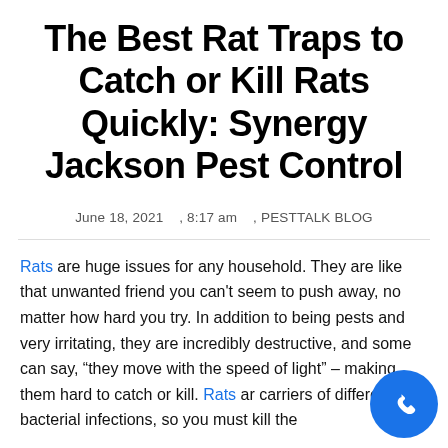The Best Rat Traps to Catch or Kill Rats Quickly: Synergy Jackson Pest Control
June 18, 2021  , 8:17 am  , PESTTALK BLOG
Rats are huge issues for any household. They are like that unwanted friend you can't seem to push away, no matter how hard you try. In addition to being pests and very irritating, they are incredibly destructive, and some can say, “they move with the speed of light” – making them hard to catch or kill. Rats are carriers of different bacterial infections, so you must kill the...